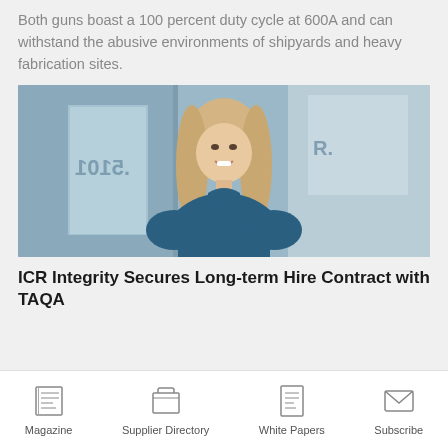Both guns boast a 100 percent duty cycle at 600A and can withstand the abusive environments of shipyards and heavy fabrication sites.
[Figure (photo): A smiling woman with long blonde hair wearing a blue turtleneck sweater, standing in front of a building with ICR lettering on the glass facade.]
ICR Integrity Secures Long-term Hire Contract with TAQA
Magazine | Supplier Directory | White Papers | Subscribe